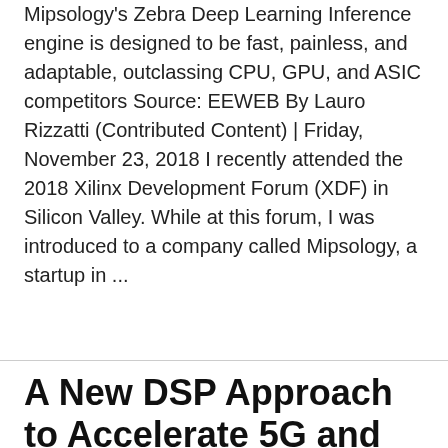Mipsology's Zebra Deep Learning Inference engine is designed to be fast, painless, and adaptable, outclassing CPU, GPU, and ASIC competitors Source: EEWEB By Lauro Rizzatti (Contributed Content) | Friday, November 23, 2018 I recently attended the 2018 Xilinx Development Forum (XDF) in Silicon Valley. While at this forum, I was introduced to a company called Mipsology, a startup in ...
read more ›
A New DSP Approach to Accelerate 5G and AI Design Development